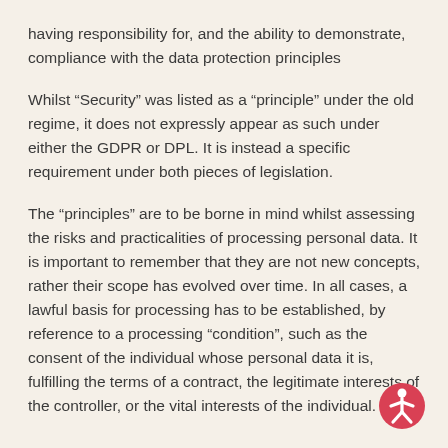having responsibility for, and the ability to demonstrate, compliance with the data protection principles
Whilst “Security” was listed as a “principle” under the old regime, it does not expressly appear as such under either the GDPR or DPL. It is instead a specific requirement under both pieces of legislation.
The “principles” are to be borne in mind whilst assessing the risks and practicalities of processing personal data. It is important to remember that they are not new concepts, rather their scope has evolved over time. In all cases, a lawful basis for processing has to be established, by reference to a processing “condition”, such as the consent of the individual whose personal data it is, fulfilling the terms of a contract, the legitimate interests of the controller, or the vital interests of the individual.
[Figure (illustration): Accessibility icon: a red circle with a white human figure with arms and legs spread, representing accessibility.]